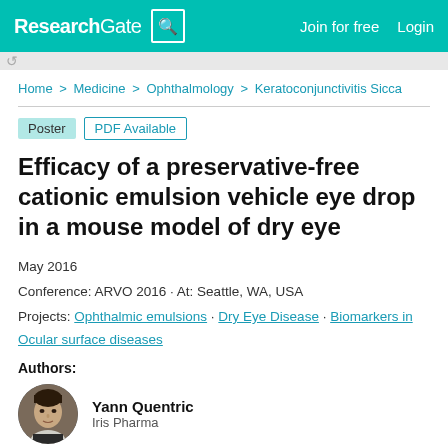ResearchGate | Join for free  Login
Home > Medicine > Ophthalmology > Keratoconjunctivitis Sicca
Poster  PDF Available
Efficacy of a preservative-free cationic emulsion vehicle eye drop in a mouse model of dry eye
May 2016
Conference: ARVO 2016 · At: Seattle, WA, USA
Projects: Ophthalmic emulsions · Dry Eye Disease · Biomarkers in Ocular surface diseases
Authors:
Yann Quentric
Iris Pharma